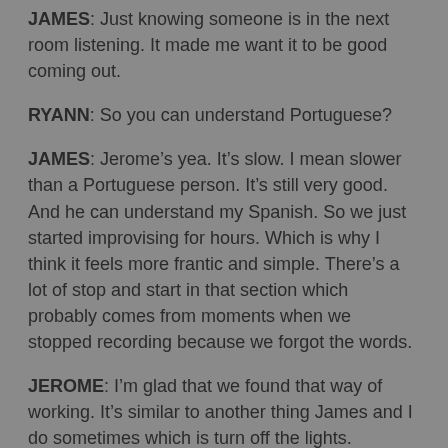JAMES: Just knowing someone is in the next room listening. It made me want it to be good coming out.
RYANN: So you can understand Portuguese?
JAMES: Jerome’s yea. It’s slow. I mean slower than a Portuguese person. It’s still very good. And he can understand my Spanish. So we just started improvising for hours. Which is why I think it feels more frantic and simple. There’s a lot of stop and start in that section which probably comes from moments when we stopped recording because we forgot the words.
JEROME: I’m glad that we found that way of working. It’s similar to another thing James and I do sometimes which is turn off the lights.
JAMES: When it’s just not working.
RYANN: Wow.
JAMES: I used to do that when I was in a band in high